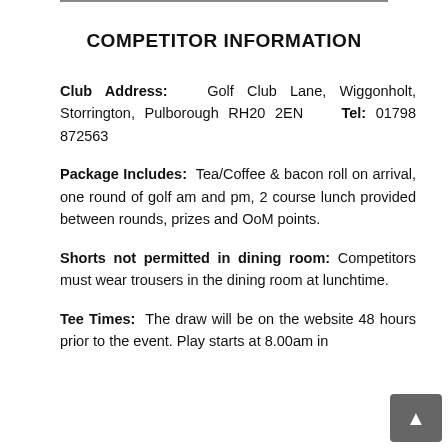COMPETITOR INFORMATION
Club Address: Golf Club Lane, Wiggonholt, Storrington, Pulborough RH20 2EN  Tel: 01798 872563
Package Includes: Tea/Coffee & bacon roll on arrival, one round of golf am and pm, 2 course lunch provided between rounds, prizes and OoM points.
Shorts not permitted in dining room: Competitors must wear trousers in the dining room at lunchtime.
Tee Times: The draw will be on the website 48 hours prior to the event. Play starts at 8.00am in